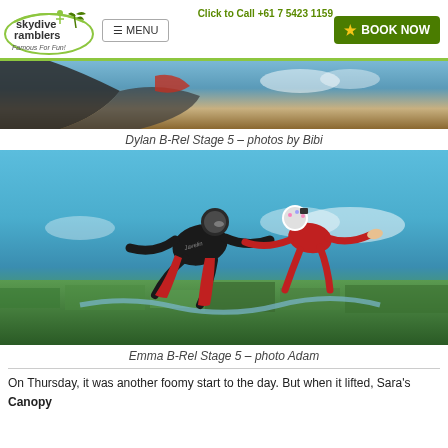Skydive Ramblers — Famous For Fun! | Click to Call +61 7 5423 1159 | MENU | BOOK NOW
[Figure (photo): Close-up aerial skydiving photo showing hands and sky/clouds, Dylan B-Rel Stage 5 by Bibi]
Dylan B-Rel Stage 5 – photos by Bibi
[Figure (photo): Two skydivers in freefall over a green landscape — one in black Javelin suit, one in red suit with spotted helmet. Emma B-Rel Stage 5, photo by Adam]
Emma B-Rel Stage 5 – photo Adam
On Thursday, it was another foomy start to the day. But when it lifted, Sara's Canopy